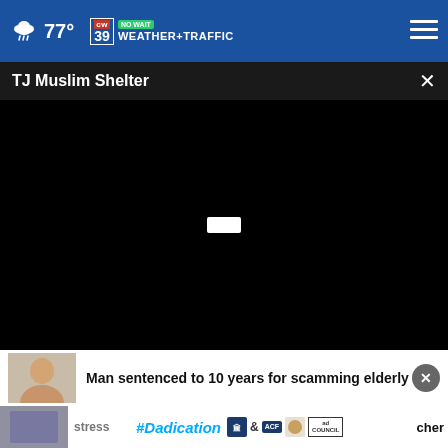77° CW39 NO WAIT WEATHER+TRAFFIC
TJ Muslim Shelter
[Figure (screenshot): Black video player area with white play button indicator in center]
Man sentenced to 10 years for scamming elderly
[Figure (photo): Thumbnail of person for news story about man sentenced]
[Figure (photo): Thumbnail for second news story]
stress
cher
[Figure (infographic): #Dadication advertisement banner with ACF, Ad Council logos]